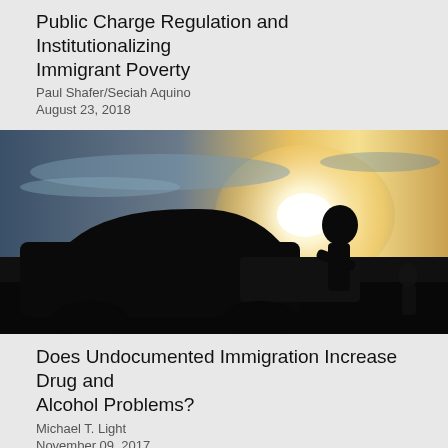Public Charge Regulation and Institutionalizing Immigrant Poverty
Paul Shafer/Seciah Aquino
August 23, 2018
[Figure (photo): Silhouette of a person standing next to a car at sunset/dusk with a dramatic sky in the background]
Does Undocumented Immigration Increase Drug and Alcohol Problems?
Michael T. Light
November 09, 2017